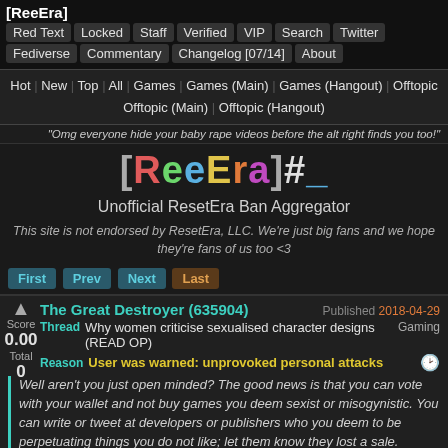[ReeEra]
Red Text | Locked | Staff | Verified | VIP | Search | Twitter | Fediverse | Commentary | Changelog [07/14] | About
Hot | New | Top | All | Games | Games (Main) | Games (Hangout) | Offtopic | Offtopic (Main) | Offtopic (Hangout)
"Omg everyone hide your baby rape videos before the alt right finds you too!"
[ReeEra]#_
Unofficial ResetEra Ban Aggregator
This site is not endorsed by ResetEra, LLC. We're just big fans and we hope they're fans of us too <3
First | Prev | Next | Last
The Great Destroyer (635904)  Published 2018-04-29
Thread Why women criticise sexualised character designs (READ OP) Gaming
Score 0.00 Total 0
Reason User was warned: unprovoked personal attacks
Well aren't you just open minded? The good news is that you can vote with your wallet and not buy games you deem sexist or misogynistic. You can write or tweet at developers or publishers who you deem to be perpetuating things you do not like; let them know they lost a sale. Personally I do not want any censorship...